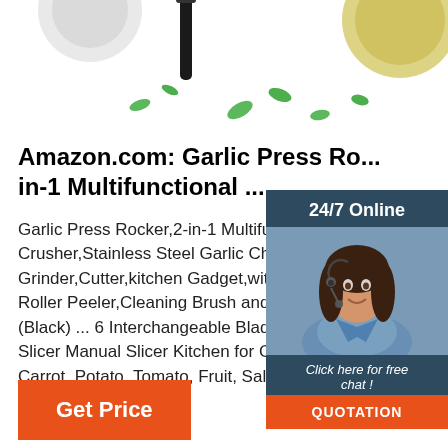[Figure (photo): Top portion of product images — garlic press, kitchen tools with decorative green leaves on white background]
Amazon.com: Garlic Press Ro... in-1 Multifunctional ...
Garlic Press Rocker,2-in-1 Multifunctio... Crusher,Stainless Steel Garlic Choppe... Grinder,Cutter,kitchen Gadget,with Sil... Roller Peeler,Cleaning Brush and Ora... (Black) ... 6 Interchangeable Blades S... Slicer Manual Slicer Kitchen for Garlic... Carrot, Potato, Tomato, Fruit, Salad. 4.4 ... 2 offers from ...
[Figure (photo): Live chat widget showing a customer service agent (woman with headset) with '24/7 Online', 'Click here for free chat!' text and an orange QUOTATION button]
[Figure (infographic): Orange 'TOP' scroll-to-top button with triangular dot icon above it]
[Figure (other): Orange 'Get Price' button at bottom left]